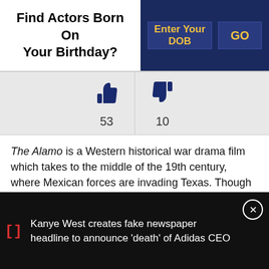Find Actors Born On Your Birthday?
The Alamo is a Western historical war drama film which takes to the middle of the 19th century, where Mexican forces are invading Texas. Though the Mexican forces are stronger in number and have better arms and training, the Texans are not willing to give up, and their morale still remains high.
As: Cast, Producer, Director
Kanye West creates fake newspaper headline to announce 'death' of Adidas CEO